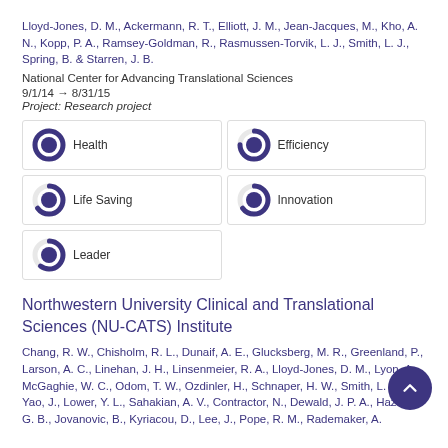Lloyd-Jones, D. M., Ackermann, R. T., Elliott, J. M., Jean-Jacques, M., Kho, A. N., Kopp, P. A., Ramsey-Goldman, R., Rasmussen-Torvik, L. J., Smith, L. J., Spring, B. & Starren, J. B.
National Center for Advancing Translational Sciences
9/1/14 → 8/31/15
Project: Research project
[Figure (infographic): Five badge/donut indicators: Health (100%), Efficiency (~75%), Life Saving (~65%), Innovation (~65%), Leader (~60%)]
Northwestern University Clinical and Translational Sciences (NU-CATS) Institute
Chang, R. W., Chisholm, R. L., Dunaif, A. E., Glucksberg, M. R., Greenland, P., Larson, A. C., Linehan, J. H., Linsenmeier, R. A., Lloyd-Jones, D. M., Lyon, A., McGaghie, W. C., Odom, T. W., Ozdinler, H., Schnaper, H. W., Smith, L. J., Yao, J., Lower, Y. L., Sahakian, A. V., Contractor, N., Dewald, J. P. A., Hazen, G. B., Jovanovic, B., Kyriacou, D., Lee, J., Pope, R. M., Rademaker, A.